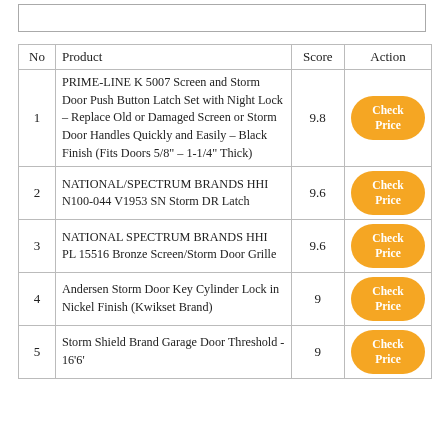| No | Product | Score | Action |
| --- | --- | --- | --- |
| 1 | PRIME-LINE K 5007 Screen and Storm Door Push Button Latch Set with Night Lock – Replace Old or Damaged Screen or Storm Door Handles Quickly and Easily – Black Finish (Fits Doors 5/8" – 1-1/4" Thick) | 9.8 | Check Price |
| 2 | NATIONAL/SPECTRUM BRANDS HHI N100-044 V1953 SN Storm DR Latch | 9.6 | Check Price |
| 3 | NATIONAL SPECTRUM BRANDS HHI PL 15516 Bronze Screen/Storm Door Grille | 9.6 | Check Price |
| 4 | Andersen Storm Door Key Cylinder Lock in Nickel Finish (Kwikset Brand) | 9 | Check Price |
| 5 | Storm Shield Brand Garage Door Threshold - 16'6' | 9 | Check Price |